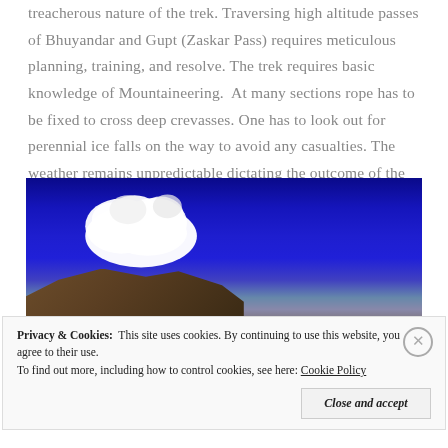treacherous nature of the trek. Traversing high altitude passes of Bhuyandar and Gupt (Zaskar Pass) requires meticulous planning, training, and resolve. The trek requires basic knowledge of Mountaineering. At many sections rope has to be fixed to cross deep crevasses. One has to look out for perennial ice falls on the way to avoid any casualties. The weather remains unpredictable dictating the outcome of the trek.
[Figure (photo): Landscape photograph showing a vivid deep blue sky with a large white cloud formation on the left side, and rocky mountain terrain visible at the bottom left corner.]
Privacy & Cookies: This site uses cookies. By continuing to use this website, you agree to their use.
To find out more, including how to control cookies, see here: Cookie Policy